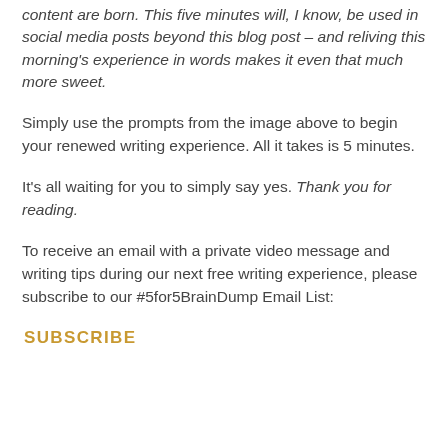content are born. This five minutes will, I know, be used in social media posts beyond this blog post – and reliving this morning's experience in words makes it even that much more sweet.
Simply use the prompts from the image above to begin your renewed writing experience. All it takes is 5 minutes.
It's all waiting for you to simply say yes. Thank you for reading.
To receive an email with a private video message and writing tips during our next free writing experience, please subscribe to our #5for5BrainDump Email List:
SUBSCRIBE